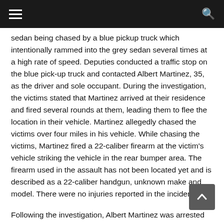≡   [search icon]
sedan being chased by a blue pickup truck which intentionally rammed into the grey sedan several times at a high rate of speed. Deputies conducted a traffic stop on the blue pick-up truck and contacted Albert Martinez, 35, as the driver and sole occupant. During the investigation, the victims stated that Martinez arrived at their residence and fired several rounds at them, leading them to flee the location in their vehicle. Martinez allegedly chased the victims over four miles in his vehicle. While chasing the victims, Martinez fired a 22-caliber firearm at the victim's vehicle striking the vehicle in the rear bumper area. The firearm used in the assault has not been located yet and is described as a 22-caliber handgun, unknown make and model. There were no injuries reported in the incident.
Following the investigation, Albert Martinez was arrested for suspicion of attempted murder with a firearm and booked into the West Valley Detention Center with his bail set at one million dollars.